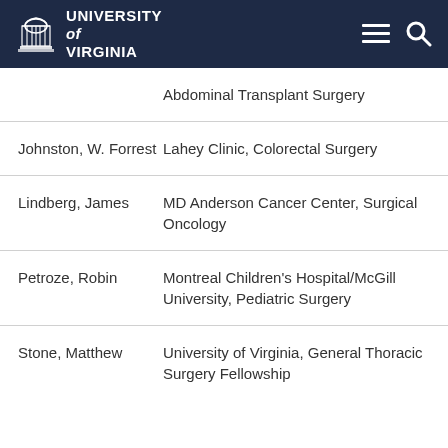University of Virginia
Abdominal Transplant Surgery
| Name | Fellowship |
| --- | --- |
| Johnston, W. Forrest | Lahey Clinic, Colorectal Surgery |
| Lindberg, James | MD Anderson Cancer Center, Surgical Oncology |
| Petroze, Robin | Montreal Children's Hospital/McGill University, Pediatric Surgery |
| Stone, Matthew | University of Virginia, General Thoracic Surgery Fellowship |